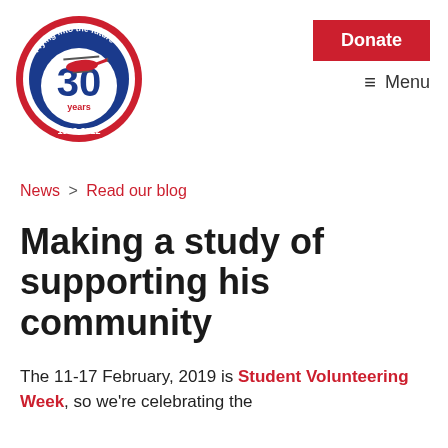[Figure (logo): Air ambulance charity 30 years anniversary logo (1992-2022), circular red and blue badge with helicopter, text 'Flying into the future']
Donate  ≡ Menu
News > Read our blog
Making a study of supporting his community
The 11-17 February, 2019 is Student Volunteering Week, so we're celebrating the